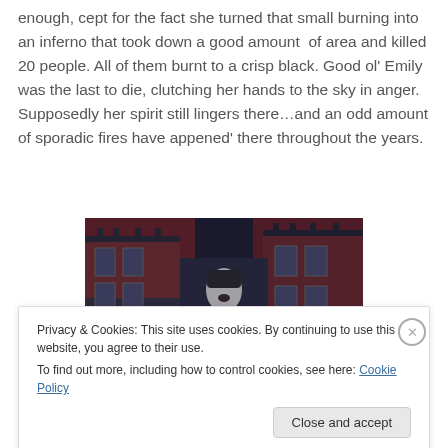enough, cept for the fact she turned that small burning into an inferno that took down a good amount of area and killed 20 people. All of them burnt to a crisp black. Good ol' Emily was the last to die, clutching her hands to the sky in anger. Supposedly her spirit still lingers there…and an odd amount of sporadic fires have appened' there throughout the years.
[Figure (illustration): Dark fantasy illustration showing gothic buildings with red-lit windows and a pale figure in the center]
Privacy & Cookies: This site uses cookies. By continuing to use this website, you agree to their use.
To find out more, including how to control cookies, see here: Cookie Policy